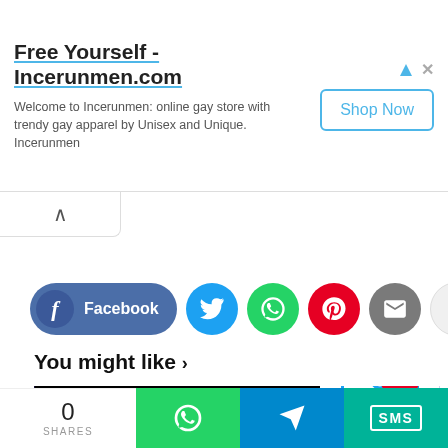[Figure (screenshot): Advertisement banner for Incerunmen.com with title 'Free Yourself - Incerunmen.com', subtitle text, and a 'Shop Now' button]
[Figure (screenshot): Social share buttons row: Facebook, Twitter, WhatsApp, Pinterest, Email, and more (+) button]
You might like >
[Figure (screenshot): Recommendation card with blue background showing 'AAKSH' banner text and a logo circle on white background]
[Figure (screenshot): Bottom share bar with share count '0 SHARES', WhatsApp, Telegram, and SMS buttons]